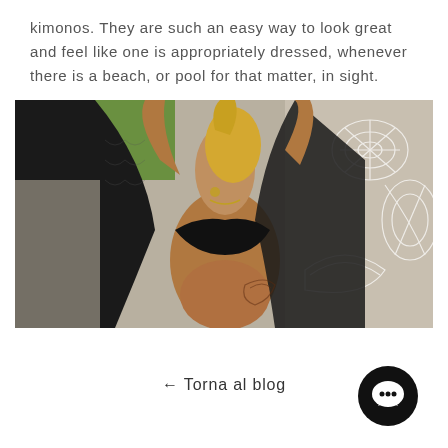kimonos. They are such an easy way to look great and feel like one is appropriately dressed, whenever there is a beach, or pool for that matter, in sight.
[Figure (photo): Woman wearing a black lace kimono open over a black bikini top, posing outdoors with arms raised, floral line-art pattern visible on the right side of the image.]
← Torna al blog